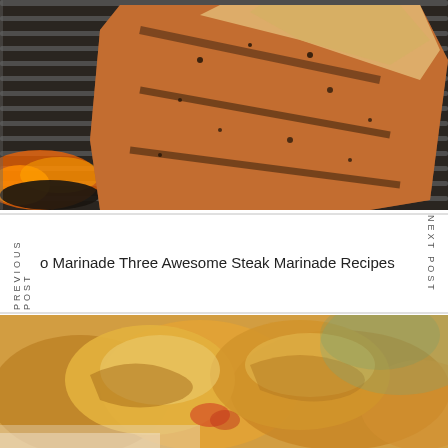[Figure (photo): A large steak or piece of meat on a grill with charcoal flames visible underneath, close-up shot with grill grates visible]
o Marinade Three Awesome Steak Marinade Recipes
PREVIOUS POST
NEXT POST
[Figure (photo): Close-up blurred photo of golden-brown fried or baked food items on a plate, warm tones]